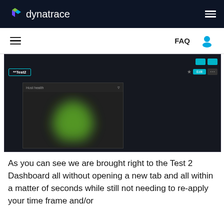dynatrace
[Figure (screenshot): Dynatrace dashboard screenshot showing Test2 dashboard with a blurred green node map tile on a dark background]
As you can see we are brought right to the Test 2 Dashboard all without opening a new tab and all within a matter of seconds while still not needing to re-apply your time frame and/or